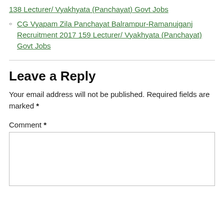138 Lecturer/ Vyakhyata (Panchayat) Govt Jobs
CG Vyapam Zila Panchayat Balrampur-Ramanujganj Recruitment 2017 159 Lecturer/ Vyakhyata (Panchayat) Govt Jobs
Leave a Reply
Your email address will not be published. Required fields are marked *
Comment *
[Figure (other): Empty comment textarea input box]